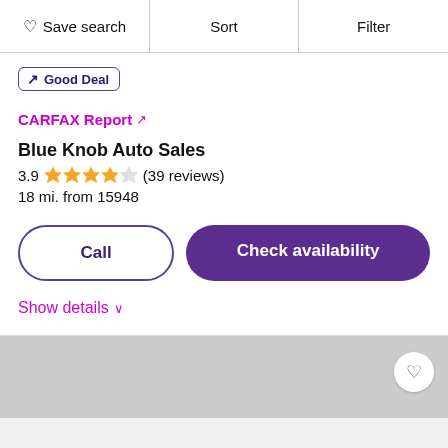Save search  Sort  Filter
Good Deal
CARFAX Report ↗
Blue Knob Auto Sales
3.9 ★★★★☆ (39 reviews)
18 mi. from 15948
Call
Check availability
Show details ∨